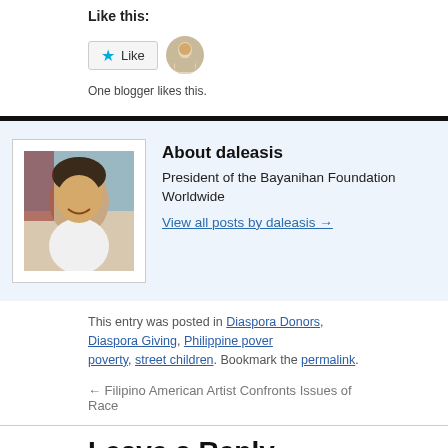Like this:
[Figure (other): WordPress Like button widget with star icon and a blogger avatar photo. Text below reads: One blogger likes this.]
One blogger likes this.
[Figure (photo): Author photo of daleasis — a man in a white shirt smiling]
About daleasis
President of the Bayanihan Foundation Worldwide
View all posts by daleasis →
This entry was posted in Diaspora Donors, Diaspora Giving, Philippine poverty, street children. Bookmark the permalink.
← Filipino American Artist Confronts Issues of Race
Leave a Reply